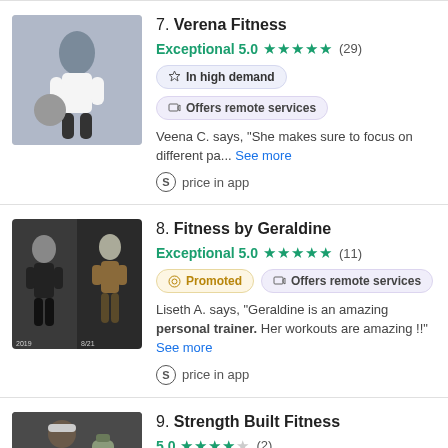7. Verena Fitness — Exceptional 5.0, 5 stars, (29) reviews. In high demand. Offers remote services. Veena C. says, "She makes sure to focus on different pa... See more". price in app
8. Fitness by Geraldine — Exceptional 5.0, 5 stars, (11) reviews. Promoted. Offers remote services. Liseth A. says, "Geraldine is an amazing personal trainer. Her workouts are amazing !!" See more. price in app
9. Strength Built Fitness — 5.0 stars (2)